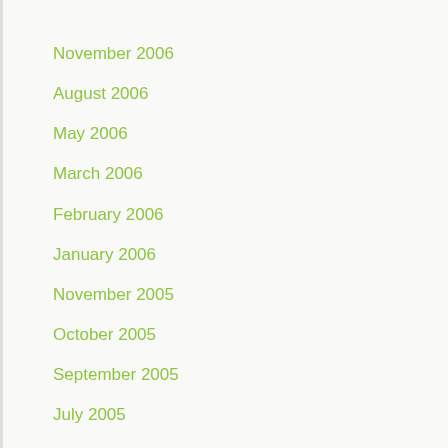November 2006
August 2006
May 2006
March 2006
February 2006
January 2006
November 2005
October 2005
September 2005
July 2005
June 2005
July 2004